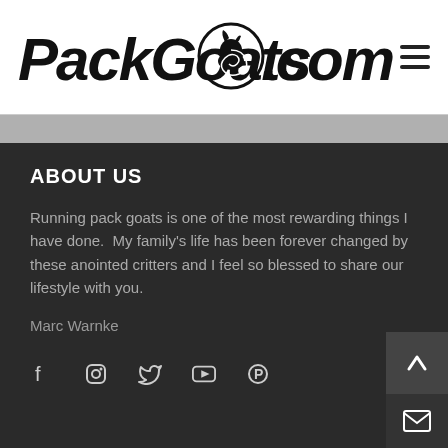PackGoats.com
ABOUT US
Running pack goats is one of the most rewarding things I have done.  My family's life has been forever changed by these anointed critters and I feel so blessed to share our lifestyle with you.
Marc Warnke